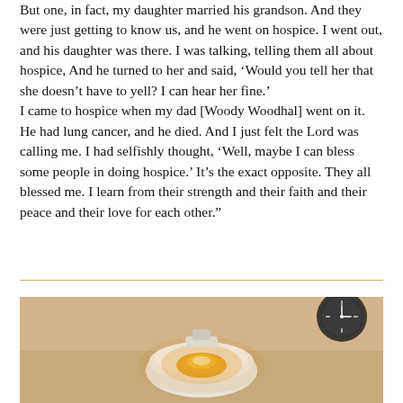But one, in fact, my daughter married his grandson. And they were just getting to know us, and he went on hospice. I went out, and his daughter was there. I was talking, telling them all about hospice, And he turned to her and said, ‘Would you tell her that she doesn’t have to yell? I can hear her fine.’
I came to hospice when my dad [Woody Woodhal] went on it. He had lung cancer, and he died. And I just felt the Lord was calling me. I had selfishly thought, ‘Well, maybe I can bless some people in doing hospice.’ It’s the exact opposite. They all blessed me. I learn from their strength and their faith and their peace and their love for each other.”
[Figure (photo): Photo of a ceiling light fixture glowing warmly, photographed from below, with a clock visible in the upper right corner. Warm beige/tan tones.]